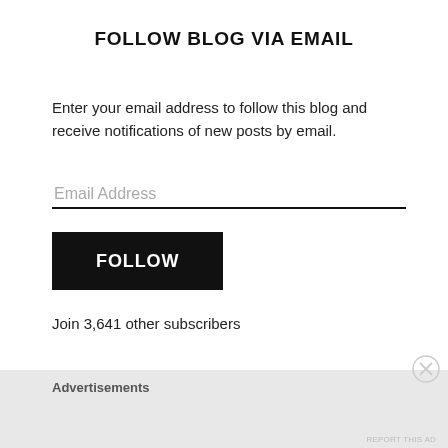FOLLOW BLOG VIA EMAIL
Enter your email address to follow this blog and receive notifications of new posts by email.
Email Address
FOLLOW
Join 3,641 other subscribers
Advertisements
REPORT THIS AD